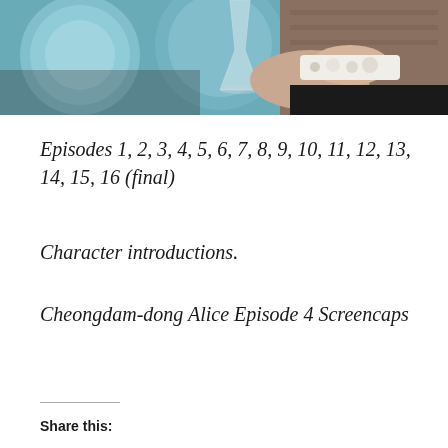[Figure (photo): A person holding a champagne flute glass, wearing a white embellished bracelet/cuff with jewels, against a background with circular disc shapes and wooden paneling. The image is cropped showing hands and lower face area.]
Episodes 1, 2, 3, 4, 5, 6, 7, 8, 9, 10, 11, 12, 13, 14, 15, 16 (final)
Character introductions.
Cheongdam-dong Alice Episode 4 Screencaps
Share this: